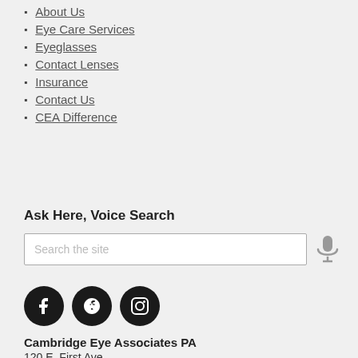About Us
Eye Care Services
Eyeglasses
Contact Lenses
Insurance
Contact Us
CEA Difference
Ask Here, Voice Search
Search the site
[Figure (illustration): Social media icons: Facebook, Yelp, Instagram]
Cambridge Eye Associates PA
120 E. First Ave.